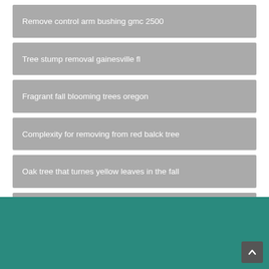Remove control arm bushing gmc 2500
Tree stump removal gainesville fl
Fragrant fall blooming trees oregon
Complexity for removing from red balck tree
Oak tree that turnes yellow leaves in the fall
Tree removal chicago suburbs